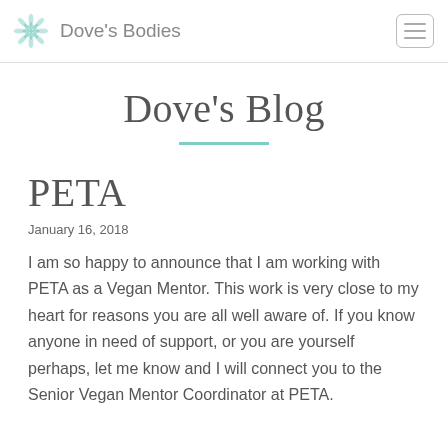Dove's Bodies
Dove's Blog
PETA
January 16, 2018
I am so happy to announce that I am working with PETA as a Vegan Mentor. This work is very close to my heart for reasons you are all well aware of. If you know anyone in need of support, or you are yourself perhaps, let me know and I will connect you to the Senior Vegan Mentor Coordinator at PETA.